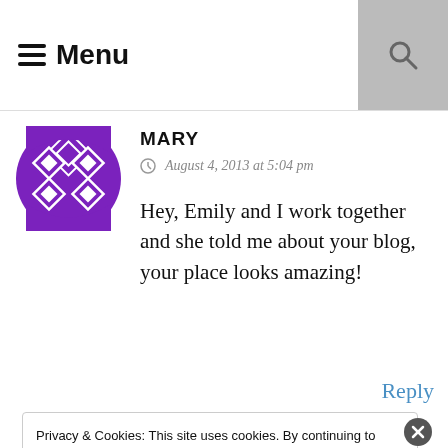☰ Menu
MARY
August 4, 2013 at 5:04 pm
Hey, Emily and I work together and she told me about your blog, your place looks amazing!
Reply
Privacy & Cookies: This site uses cookies. By continuing to use this website, you agree to their use.
To find out more, including how to control cookies, see here: Cookie Policy
Close and accept